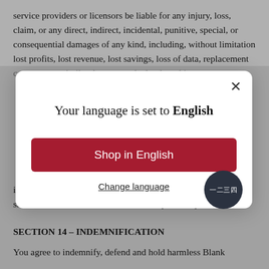service providers or licensors be liable for any injury, loss, claim, or any direct, indirect, incidental, punitive, special, or consequential damages of any kind, including, without limitation lost profits, lost revenue, lost savings, loss of data, replacement costs, or any similar damages, whether based in
[Figure (screenshot): A modal dialog overlay on a gray background. The modal contains text 'Your language is set to English', a red 'Shop in English' button, and a 'Change language' underlined link. A close (×) button is in the top right corner.]
incidental damages, in such states or jurisdictions, our liability shall be limited to the maximum extent permitted by law.
SECTION 14 – INDEMNIFICATION
You agree to indemnify, defend and hold harmless Blank